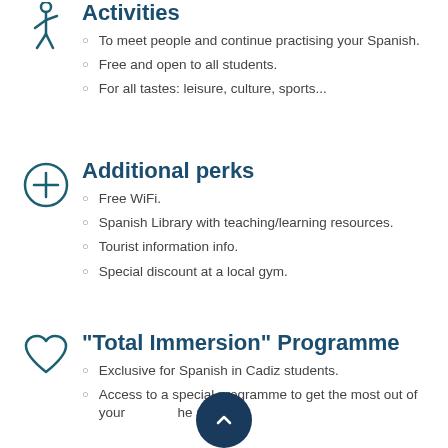Activities
To meet people and continue practising your Spanish.
Free and open to all students.
For all tastes: leisure, culture, sports...
Additional perks
Free WiFi.
Spanish Library with teaching/learning resources.
Tourist information info.
Special discount at a local gym.
"Total Immersion" Programme
Exclusive for Spanish in Cadiz students.
Access to a special programme to get the most out of your time at the school.